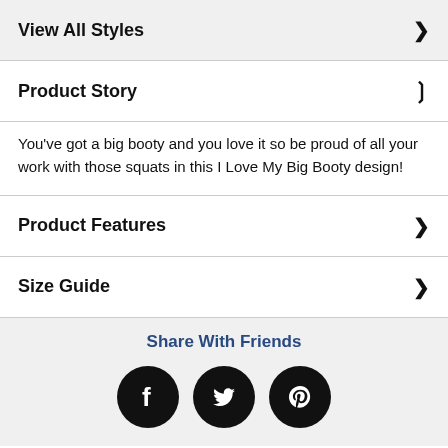View All Styles
Product Story
You've got a big booty and you love it so be proud of all your work with those squats in this I Love My Big Booty design!
Product Features
Size Guide
Share With Friends
[Figure (other): Social sharing icons: Facebook, Twitter, Pinterest (black circles)]